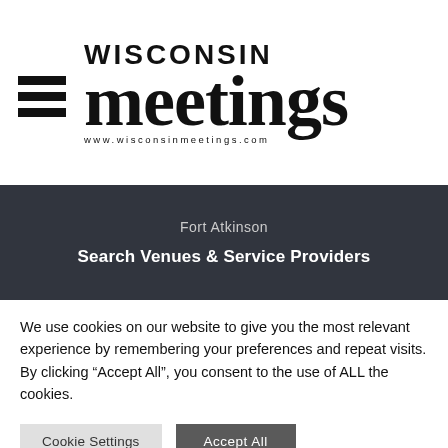[Figure (logo): Wisconsin Meetings logo with hamburger menu icon on the left, large text 'WISCONSIN meetings' and URL www.wisconsinmeetings.com below]
Fort Atkinson
Search Venues & Service Providers
We use cookies on our website to give you the most relevant experience by remembering your preferences and repeat visits. By clicking “Accept All”, you consent to the use of ALL the cookies.
Cookie Settings | Accept All